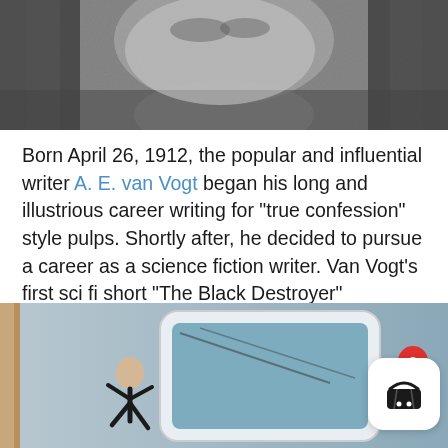[Figure (photo): Black and white close-up photo of a person's face/neck, partially visible at the top of the page]
Born April 26, 1912, the popular and influential writer A. E. van Vogt began his long and illustrious career writing for "true confession" style pulps. Shortly after, he decided to pursue a career as a science fiction writer. Van Vogt's first sci fi short "The Black Destroyer" appeared in the July 1939 issue of ASTOUNDING SCIENCE FICTION. The story remained one of his most popular stories, often cited as a source for the film ALIEN.
[Figure (photo): Illustration or book cover showing a person running near a large screen or window, in a retro science fiction style, partially visible at bottom of page]